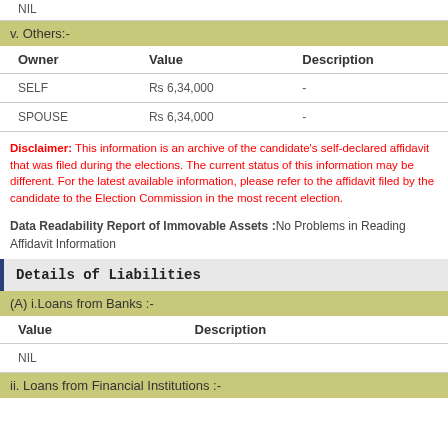NIL
v. Others:-
| Owner | Value | Description |
| --- | --- | --- |
| SELF | Rs 6,34,000 | - |
| SPOUSE | Rs 6,34,000 | - |
Disclaimer: This information is an archive of the candidate’s self-declared affidavit that was filed during the elections. The current status of this information may be different. For the latest available information, please refer to the affidavit filed by the candidate to the Election Commission in the most recent election.
Data Readability Report of Immovable Assets :No Problems in Reading Affidavit Information
Details of Liabilities
(A) i.Loans from Banks :-
| Value | Description |
| --- | --- |
| NIL |  |
ii. Loans from Financial Institutions :-